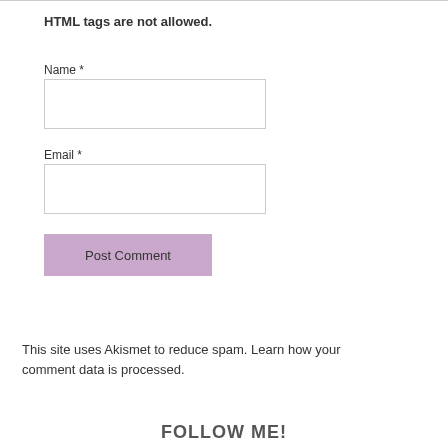HTML tags are not allowed.
Name *
Email *
Post Comment
This site uses Akismet to reduce spam. Learn how your comment data is processed.
FOLLOW ME!